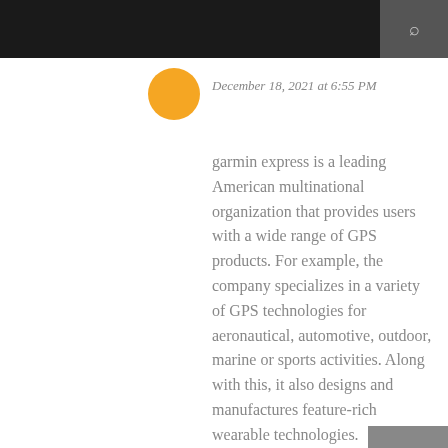December 18, 2021 at 6:55 PM
garmin express is a leading American multinational organization that provides users with a wide range of GPS products. For example, the company specializes in a variety of GPS technologies for aeronautical, automotive, outdoor, marine or sports activities. Along with this, it also designs and manufactures feature-rich wearable technologies.